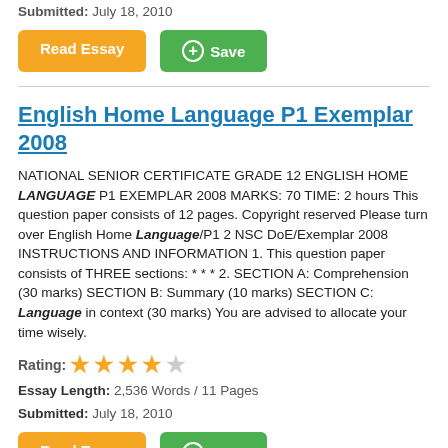Submitted: July 18, 2010
[Figure (other): Read Essay button (orange) and Save button (green with plus circle icon)]
English Home Language P1 Exemplar 2008
NATIONAL SENIOR CERTIFICATE GRADE 12 ENGLISH HOME LANGUAGE P1 EXEMPLAR 2008 MARKS: 70 TIME: 2 hours This question paper consists of 12 pages. Copyright reserved Please turn over English Home Language/P1 2 NSC DoE/Exemplar 2008 INSTRUCTIONS AND INFORMATION 1. This question paper consists of THREE sections: * * * 2. SECTION A: Comprehension (30 marks) SECTION B: Summary (10 marks) SECTION C: Language in context (30 marks) You are advised to allocate your time wisely.
Rating: ★★★★☆
Essay Length: 2,536 Words / 11 Pages
Submitted: July 18, 2010
[Figure (other): Read Essay button (orange) and Save button (green) at bottom]